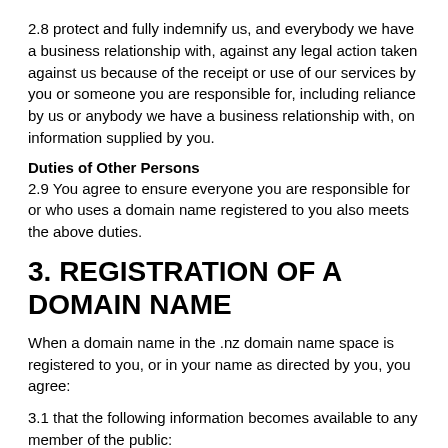2.8 protect and fully indemnify us, and everybody we have a business relationship with, against any legal action taken against us because of the receipt or use of our services by you or someone you are responsible for, including reliance by us or anybody we have a business relationship with, on information supplied by you.
Duties of Other Persons
2.9 You agree to ensure everyone you are responsible for or who uses a domain name registered to you also meets the above duties.
3. REGISTRATION OF A DOMAIN NAME
When a domain name in the .nz domain name space is registered to you, or in your name as directed by you, you agree:
3.1 that the following information becomes available to any member of the public:
your name
your contact details, and